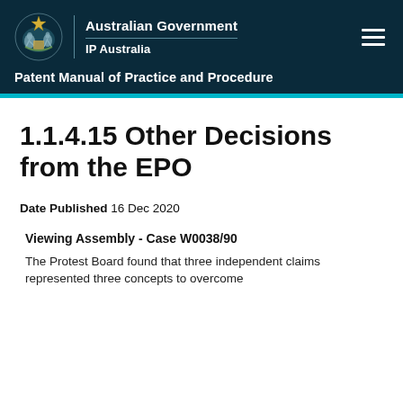Australian Government IP Australia — Patent Manual of Practice and Procedure
1.1.4.15 Other Decisions from the EPO
Date Published 16 Dec 2020
Viewing Assembly  -  Case W0038/90
The Protest Board found that three independent claims represented three concepts to overcome